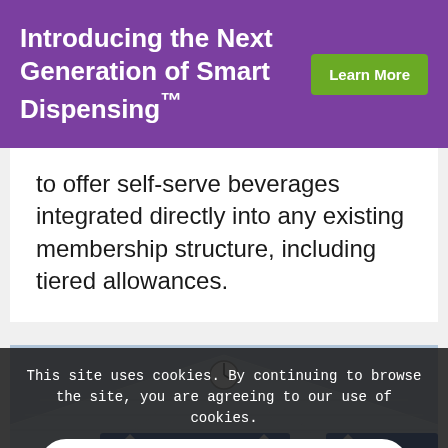Introducing the Next Generation of Smart Dispensing™
to offer self-serve beverages integrated directly into any existing membership structure, including tiered allowances.
[Figure (photo): Interior of an airport terminal with hanging directional signs showing arrows and gate numbers C9-C23, large glass ceiling structure.]
This site uses cookies. By continuing to browse the site, you are agreeing to our use of cookies.
OK
LEARN MORE
Airport Lounges